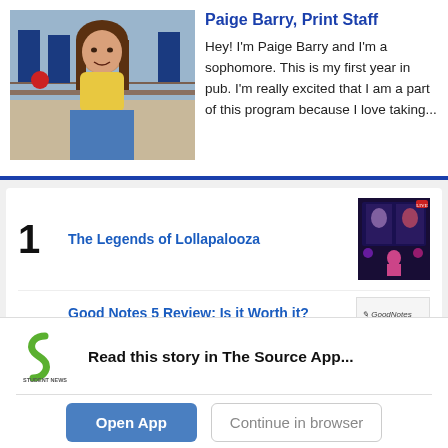[Figure (photo): Photo of Paige Barry, a teenage girl with long brown hair, wearing a yellow crop top, standing in a school hallway with blue banners in the background.]
Paige Barry, Print Staff
Hey! I'm Paige Barry and I'm a sophomore. This is my first year in pub. I'm really excited that I am a part of this program because I love taking...
The Legends of Lollapalooza
[Figure (photo): Small thumbnail image: a performer on stage at Lollapalooza, with purple/blue lighting and a screen behind them.]
Good Notes 5 Review: Is it Worth it?
[Figure (logo): GoodNotes logo thumbnail]
Read this story in The Source App...
[Figure (logo): Student News Source app logo — green spiral S shape with 'STUDENT NEWS SOURCE' text below]